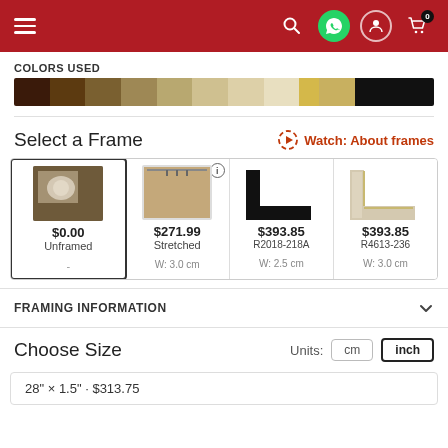Navigation header with menu, search, WhatsApp, account, and cart icons
COLORS USED
[Figure (illustration): Color palette strip showing gradient from dark brown through tans and golds to black]
Select a Frame
Watch: About frames
[Figure (other): Four frame option cards: Unframed $0.00, Stretched $271.99 W: 3.0 cm, R2018-218A $393.85 W: 2.5 cm, R4613-236 $393.85 W: 3.0 cm]
FRAMING INFORMATION
Choose Size
Units: cm  inch
28" × 1.5" · $313.75